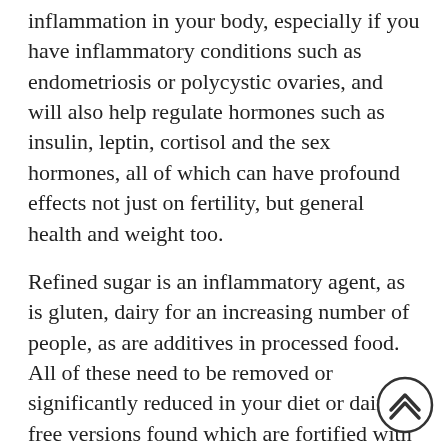inflammation in your body, especially if you have inflammatory conditions such as endometriosis or polycystic ovaries, and will also help regulate hormones such as insulin, leptin, cortisol and the sex hormones, all of which can have profound effects not just on fertility, but general health and weight too.
Refined sugar is an inflammatory agent, as is gluten, dairy for an increasing number of people, as are additives in processed food. All of these need to be removed or significantly reduced in your diet or dairy free versions found which are fortified with calcium and vitamin D. Having a diet that is predominantly plant based is important, though it's not to say meat needs to be excluded. In small doses, lean organic meat is beneficial, but focusing on including as many plants as possible also means you're eating lots of healthy fats, that are important for fertility, and